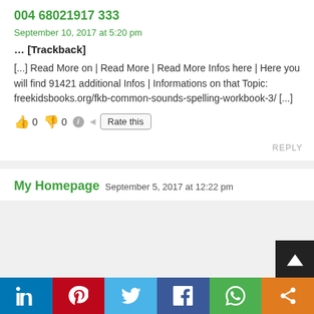004 68021917 333
September 10, 2017 at 5:20 pm
… [Trackback]
[...] Read More on|Read More|Read More Infos here|Here you will find 91421 additional Infos|Informations on that Topic: freekidsbooks.org/fkb-common-sounds-spelling-workbook-3/ [...]
👍 0 👎 0 ℹ Rate this
REPLY
My Homepage
September 5, 2017 at 12:22 pm